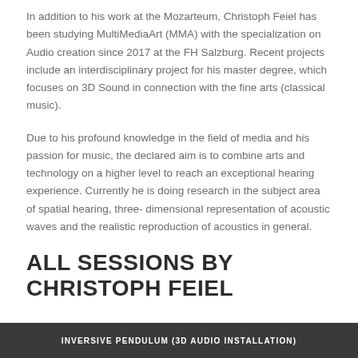In addition to his work at the Mozarteum, Christoph Feiel has been studying MultiMediaArt (MMA) with the specialization on Audio creation since 2017 at the FH Salzburg. Recent projects include an interdisciplinary project for his master degree, which focuses on 3D Sound in connection with the fine arts (classical music).
Due to his profound knowledge in the field of media and his passion for music, the declared aim is to combine arts and technology on a higher level to reach an exceptional hearing experience. Currently he is doing research in the subject area of spatial hearing, three- dimensional representation of acoustic waves and the realistic reproduction of acoustics in general.
ALL SESSIONS BY CHRISTOPH FEIEL
INVERSIVE PENDULUM (3D AUDIO INSTALLATION)